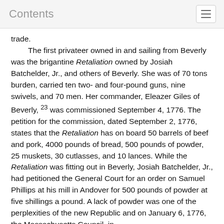Contents
trade.
The first privateer owned in and sailing from Beverly was the brigantine Retaliation owned by Josiah Batchelder, Jr., and others of Beverly. She was of 70 tons burden, carried ten two- and four-pound guns, nine swivels, and 70 men. Her commander, Eleazer Giles of Beverly, 23 was commissioned September 4, 1776. The petition for the commission, dated September 2, 1776, states that the Retaliation has on board 50 barrels of beef and pork, 4000 pounds of bread, 500 pounds of powder, 25 muskets, 30 cutlasses, and 10 lances. While the Retaliation was fitting out in Beverly, Josiah Batchelder, Jr., had petitioned the General Court for an order on Samuel Phillips at his mill in Andover for 500 pounds of powder at five shillings a pound. A lack of powder was one of the perplexities of the new Republic and on January 6, 1776, the Massachusetts Council, in